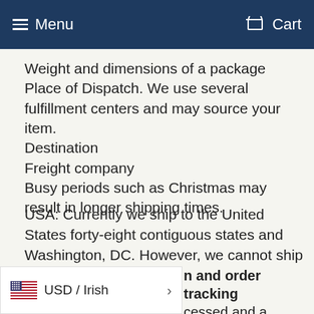Menu   Cart
Weight and dimensions of a package
Place of Dispatch. We use several fulfillment centers and may source your item.
Destination
Freight company
Busy periods such as Christmas may result in longer shipping times.
USA: Currently we ship to the United States forty-eight contiguous states and Washington, DC. However, we cannot ship to P.O. boxes or military bases or diplomatic locations.
n and order tracking
cessed and a tracking
number is available, you will receive an email with